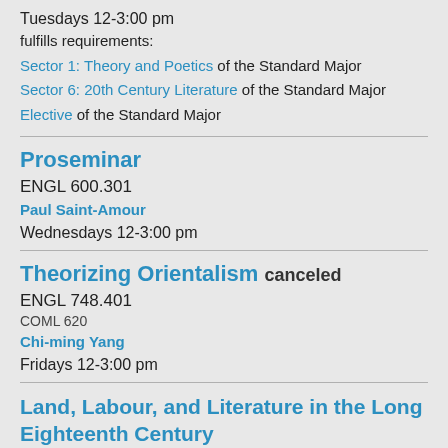Tuesdays 12-3:00 pm
fulfills requirements:
Sector 1: Theory and Poetics of the Standard Major
Sector 6: 20th Century Literature of the Standard Major
Elective of the Standard Major
Proseminar
ENGL 600.301
Paul Saint-Amour
Wednesdays 12-3:00 pm
Theorizing Orientalism canceled
ENGL 748.401
COML 620
Chi-ming Yang
Fridays 12-3:00 pm
Land, Labour, and Literature in the Long Eighteenth Century